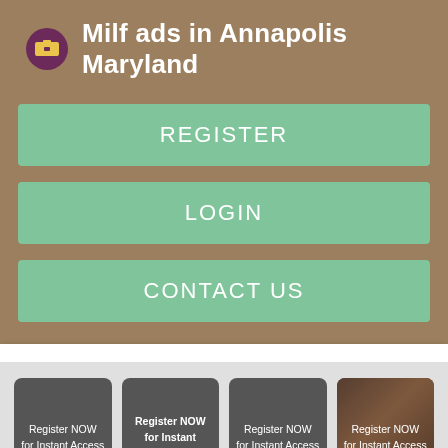Milf ads in Annapolis Maryland
REGISTER
LOGIN
CONTACT US
[Figure (screenshot): Four grid cards each reading 'Register NOW for Instant Access', with the fourth card showing a woman's face partially visible]
[Figure (screenshot): Two partial grid cards at the bottom, one dark gray and one showing a partial face]